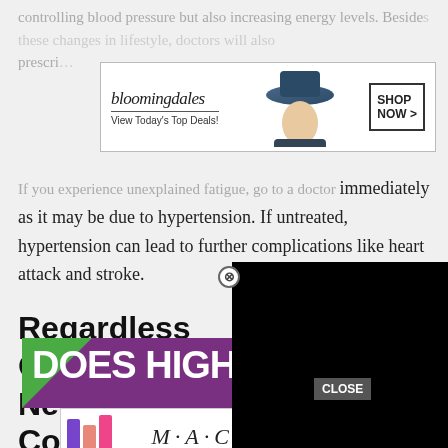controlling blood pressure but also increasing energy levels. Besides these changes in lifestyle, doctors will also prescri…
[Figure (screenshot): Bloomingdale's advertisement banner: logo, 'View Today's Top Deals!', model with hat, 'SHOP NOW >' button]
If you experience unexplained fatigue, go to a doctor immediately as it may be due to hypertension. If untreated, hypertension can lead to further complications like heart attack and stroke.
Regardless Of The… Needs To Be Cont…
[Figure (screenshot): Black video overlay player with close (X) button]
[Figure (screenshot): Does High… banner ad with green triangle and purple background]
[Figure (screenshot): M·A·C cosmetics advertisement with lipsticks and SHOP NOW button]